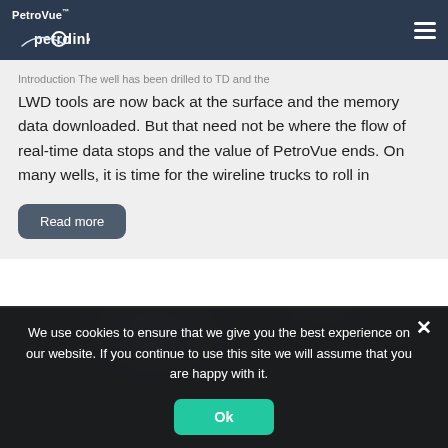PetroVue™ | petrolink (logo) | hamburger menu
Introduction The well has been drilled to TD and the LWD tools are now back at the surface and the memory data downloaded. But that need not be where the flow of real-time data stops and the value of PetroVue ends. On many wells, it is time for the wireline trucks to roll in
Read more
[Figure (photo): Dark blue abstract background image, partially visible at bottom of page]
We use cookies to ensure that we give you the best experience on our website. If you continue to use this site we will assume that you are happy with it.
Ok